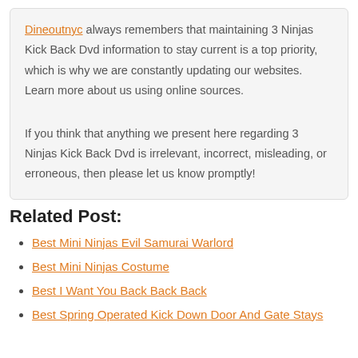Dineoutnyc always remembers that maintaining 3 Ninjas Kick Back Dvd information to stay current is a top priority, which is why we are constantly updating our websites. Learn more about us using online sources.
If you think that anything we present here regarding 3 Ninjas Kick Back Dvd is irrelevant, incorrect, misleading, or erroneous, then please let us know promptly!
Related Post:
Best Mini Ninjas Evil Samurai Warlord
Best Mini Ninjas Costume
Best I Want You Back Back Back
Best Spring Operated Kick Down Door And Gate Stays